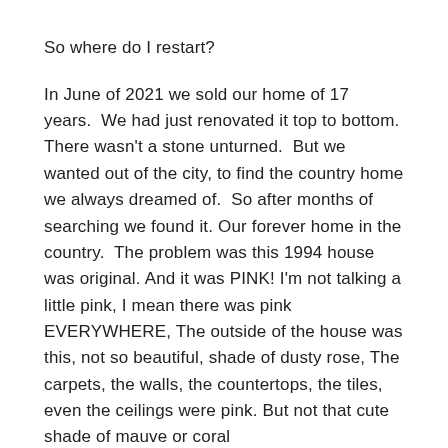So where do I restart?
In June of 2021 we sold our home of 17 years.  We had just renovated it top to bottom. There wasn't a stone unturned.  But we wanted out of the city, to find the country home we always dreamed of.  So after months of searching we found it. Our forever home in the country.  The problem was this 1994 house was original. And it was PINK! I'm not talking a little pink, I mean there was pink EVERYWHERE, The outside of the house was this, not so beautiful, shade of dusty rose, The carpets, the walls, the countertops, the tiles, even the ceilings were pink. But not that cute shade of mauve or coral